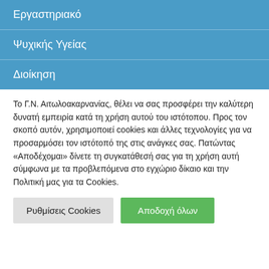Εργαστηριακό
Ψυχικής Υγείας
Διοίκηση
Το Γ.Ν. Αιτωλοακαρνανίας, θέλει να σας προσφέρει την καλύτερη δυνατή εμπειρία κατά τη χρήση αυτού του ιστότοπου. Προς τον σκοπό αυτόν, χρησιμοποιεί cookies και άλλες τεχνολογίες για να προσαρμόσει τον ιστότοπό της στις ανάγκες σας. Πατώντας «Αποδέχομαι» δίνετε τη συγκατάθεσή σας για τη χρήση αυτή σύμφωνα με τα προβλεπόμενα στο εγχώριο δίκαιο και την Πολιτική μας για τα Cookies.
Ρυθμίσεις Cookies
Αποδοχή όλων